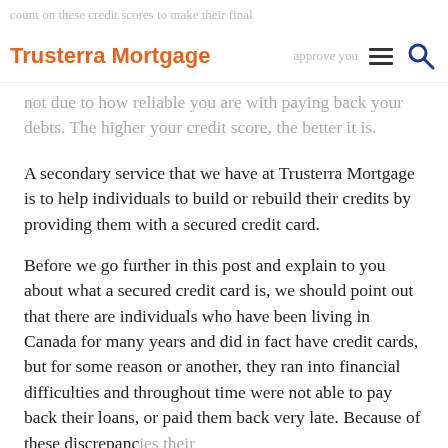Trusterra Mortgage
count on these credit scores to make their final approve you or not due to how reliable you are with paying back your debts. The higher your credit score, the better it is.
A secondary service that we have at Trusterra Mortgage is to help individuals to build or rebuild their credits by providing them with a secured credit card.
Before we go further in this post and explain to you about what a secured credit card is, we should point out that there are individuals who have been living in Canada for many years and did in fact have credit cards, but for some reason or another, they ran into financial difficulties and throughout time were not able to pay back their loans, or paid them back very late. Because of these discrepancies their